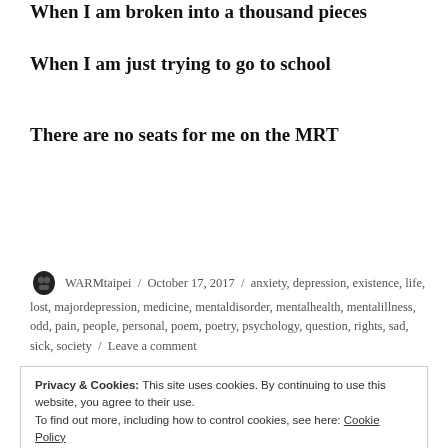When I am broken into a thousand pieces
When I am just trying to go to school
There are no seats for me on the MRT
WARMtaipei / October 17, 2017 / anxiety, depression, existence, life, lost, majordepression, medicine, mentaldisorder, mentalhealth, mentalillness, odd, pain, people, personal, poem, poetry, psychology, question, rights, sad, sick, society / Leave a comment
Privacy & Cookies: This site uses cookies. By continuing to use this website, you agree to their use.
To find out more, including how to control cookies, see here: Cookie Policy
Close and accept